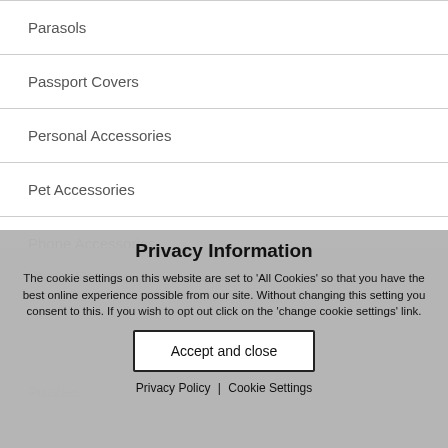Parasols
Passport Covers
Personal Accessories
Pet Accessories
Phone Accessories
Phone Cases
Privacy Information
The cookie settings on this website are set to 'All Cookies' so that you have the best online experience possible from our site. Without changing this setting you consent to this. If you wish to opt out click on the 'change cookie settings' link.
Accept and close
Privacy Policy | Cookie Settings
Puzzles
RFID Products
Screen Cleaners